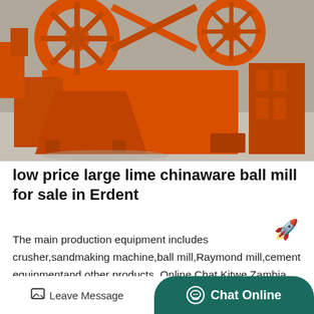[Figure (photo): Large orange industrial mining/sand washing equipment machines in a factory or warehouse setting. Multiple orange metal machines are visible, with large wheel-like structures and bucket-shaped components.]
low price large lime chinaware ball mill for sale in Erdent
The main production equipment includes crusher,sandmaking machine,ball mill,Raymond mill,cement equipmentand other products. Online Chat Kitwe Zambia Africasand washer sell Korm…
Leave Message   Chat Online